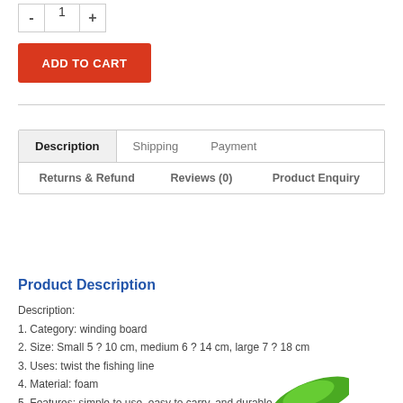- 1 +
ADD TO CART
Description | Shipping | Payment | Returns & Refund | Reviews (0) | Product Enquiry
Product Description
Description:
1. Category: winding board
2. Size: Small 5 ? 10 cm, medium 6 ? 14 cm, large 7 ? 18 cm
3. Uses: twist the fishing line
4. Material: foam
5. Features: simple to use, easy to carry, and durable
More Detailed Photos:
[Figure (photo): Partial view of a green product photo at the bottom of the page]